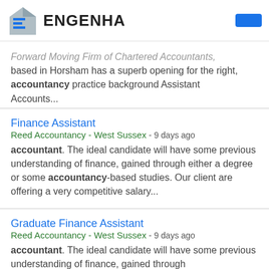ENGENHA
Forward Moving Firm of Chartered Accountants, based in Horsham has a superb opening for the right, accountancy practice background Assistant Accounts...
Finance Assistant
Reed Accountancy - West Sussex - 9 days ago
accountant. The ideal candidate will have some previous understanding of finance, gained through either a degree or some accountancy-based studies. Our client are offering a very competitive salary...
Graduate Finance Assistant
Reed Accountancy - West Sussex - 9 days ago
accountant. The ideal candidate will have some previous understanding of finance, gained through either a degree or some accountancy-based studies...